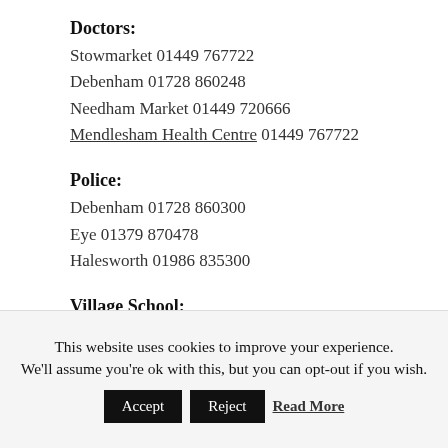Doctors:
Stowmarket 01449 767722
Debenham 01728 860248
Needham Market 01449 720666
Mendlesham Health Centre 01449 767722
Police:
Debenham 01728 860300
Eye 01379 870478
Halesworth 01986 835300
Village School:
This website uses cookies to improve your experience. We'll assume you're ok with this, but you can opt-out if you wish.
Accept | Reject | Read More